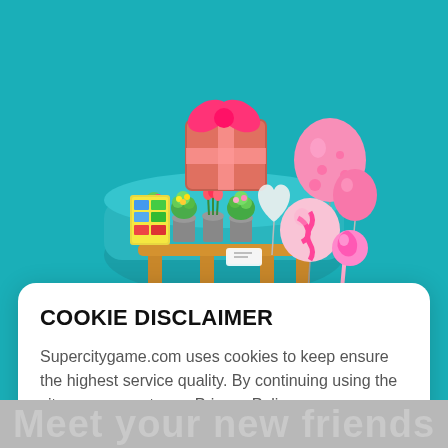[Figure (illustration): 3D isometric illustration of a flower kiosk with pink gift box with bow on top, colorful flowers and plants on display, pink and white balloons on the right side, on a teal/turquoise background]
Flower kiosk
COOKIE DISCLAIMER
Supercitygame.com uses cookies to keep ensure the highest service quality. By continuing using the site, you agree to our Privacy Policy
Accept
Meet your new friends